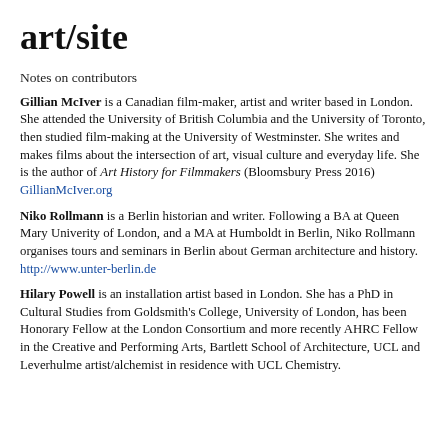art/site
Notes on contributors
Gillian McIver is a Canadian film-maker, artist and writer based in London. She attended the University of British Columbia and the University of Toronto, then studied film-making at the University of Westminster. She writes and makes films about the intersection of art, visual culture and everyday life. She is the author of Art History for Filmmakers (Bloomsbury Press 2016) GillianMcIver.org
Niko Rollmann is a Berlin historian and writer. Following a BA at Queen Mary Univerity of London, and a MA at Humboldt in Berlin, Niko Rollmann organises tours and seminars in Berlin about German architecture and history. http://www.unter-berlin.de
Hilary Powell is an installation artist based in London. She has a PhD in Cultural Studies from Goldsmith's College, University of London, has been Honorary Fellow at the London Consortium and more recently AHRC Fellow in the Creative and Performing Arts, Bartlett School of Architecture, UCL and Leverhulme artist/alchemist in residence with UCL Chemistry.